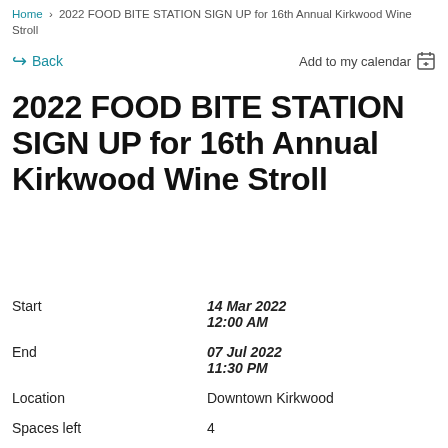Home > 2022 FOOD BITE STATION SIGN UP for 16th Annual Kirkwood Wine Stroll
Back | Add to my calendar
2022 FOOD BITE STATION SIGN UP for 16th Annual Kirkwood Wine Stroll
| Field | Value |
| --- | --- |
| Start | 14 Mar 2022
12:00 AM |
| End | 07 Jul 2022
11:30 PM |
| Location | Downtown Kirkwood |
| Spaces left | 4 |